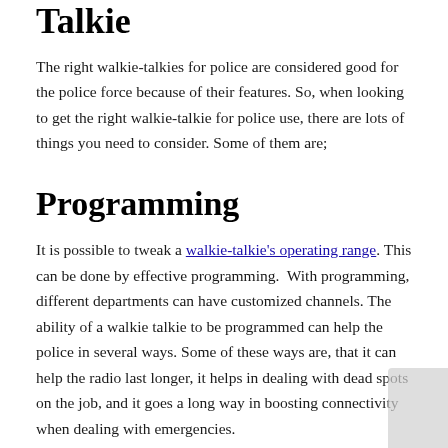Talkie
The right walkie-talkies for police are considered good for the police force because of their features. So, when looking to get the right walkie-talkie for police use, there are lots of things you need to consider. Some of them are;
Programming
It is possible to tweak a walkie-talkie's operating range. This can be done by effective programming.  With programming, different departments can have customized channels. The ability of a walkie talkie to be programmed can help the police in several ways. Some of these ways are, that it can help the radio last longer, it helps in dealing with dead spots on the job, and it goes a long way in boosting connectivity when dealing with emergencies.